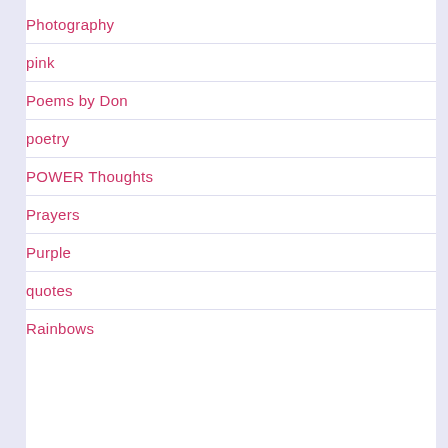Photography
pink
Poems by Don
poetry
POWER Thoughts
Prayers
Purple
quotes
Rainbows